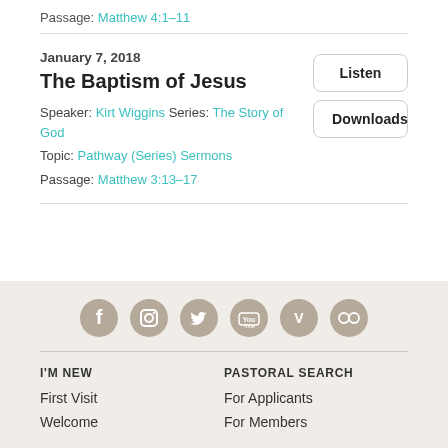Passage: Matthew 4:1–11
January 7, 2018
The Baptism of Jesus
Speaker: Kirt Wiggins Series: The Story of God
Topic: Pathway (Series) Sermons
Passage: Matthew 3:13–17
Listen
Downloads
[Figure (infographic): Row of 6 circular social media icons (Facebook, Instagram, Twitter, YouTube, Vimeo, and another) in tan/beige color]
I'M NEW
PASTORAL SEARCH
First Visit
For Applicants
Welcome
For Members